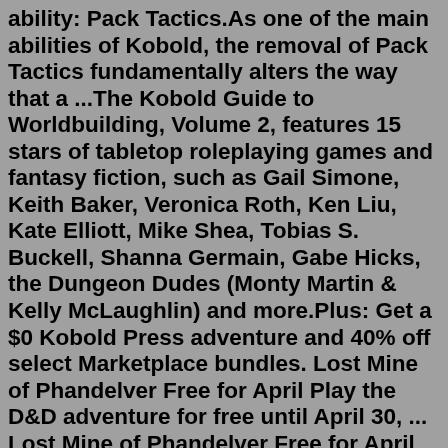ability: Pack Tactics.As one of the main abilities of Kobold, the removal of Pack Tactics fundamentally alters the way that a ...The Kobold Guide to Worldbuilding, Volume 2, features 15 stars of tabletop roleplaying games and fantasy fiction, such as Gail Simone, Keith Baker, Veronica Roth, Ken Liu, Kate Elliott, Mike Shea, Tobias S. Buckell, Shanna Germain, Gabe Hicks, the Dungeon Dudes (Monty Martin & Kelly McLaughlin) and more.Plus: Get a $0 Kobold Press adventure and 40% off select Marketplace bundles. Lost Mine of Phandelver Free for April Play the D&D adventure for free until April 30, ... Lost Mine of Phandelver Free for April Play the D&D adventure for free until April 30, 2022. Updated Compendium Sharing Shared Compendiums are now accessible via the web Compendium.To get the kobold skeleton promo box, pre-order any Boneyard set from dndmini.com. The Press Release reads "You will quality to receive a Kobold Skeleton Promo Box set once they. are available, while supplies last!" So it